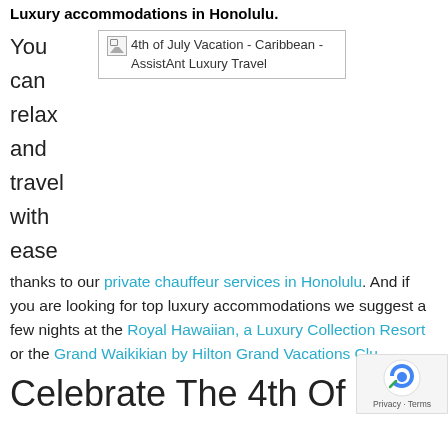Luxury accommodations in Honolulu.
You can relax and travel with ease thanks to our private chauffeur services in Honolulu. And if you are looking for top luxury accommodations we suggest a few nights at the Royal Hawaiian, a Luxury Collection Resort or the Grand Waikikian by Hilton Grand Vacations Clu
[Figure (other): Broken image placeholder labeled: 4th of July Vacation - Caribbean - AssistAnt Luxury Travel]
Celebrate The 4th Of